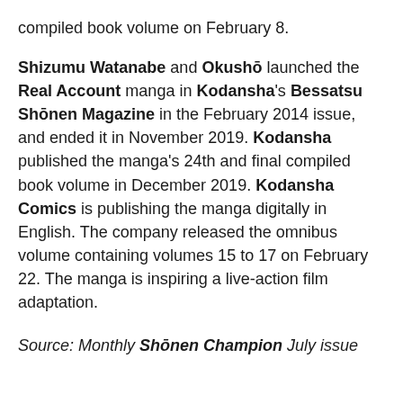compiled book volume on February 8.
Shizumu Watanabe and Okushō launched the Real Account manga in Kodansha's Bessatsu Shōnen Magazine in the February 2014 issue, and ended it in November 2019. Kodansha published the manga's 24th and final compiled book volume in December 2019. Kodansha Comics is publishing the manga digitally in English. The company released the omnibus volume containing volumes 15 to 17 on February 22. The manga is inspiring a live-action film adaptation.
Source: Monthly Shōnen Champion July issue